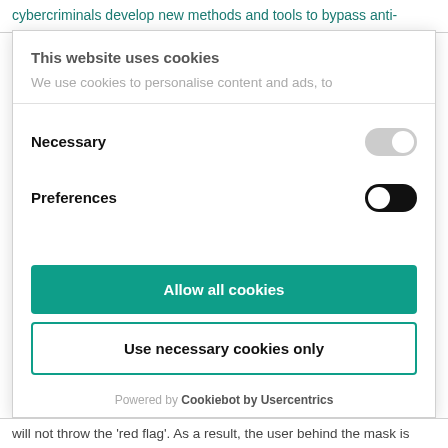cybercriminals develop new methods and tools to bypass anti-
This website uses cookies
We use cookies to personalise content and ads, to
Necessary
Preferences
Allow all cookies
Use necessary cookies only
Powered by Cookiebot by Usercentrics
will not throw the 'red flag'. As a result, the user behind the mask is